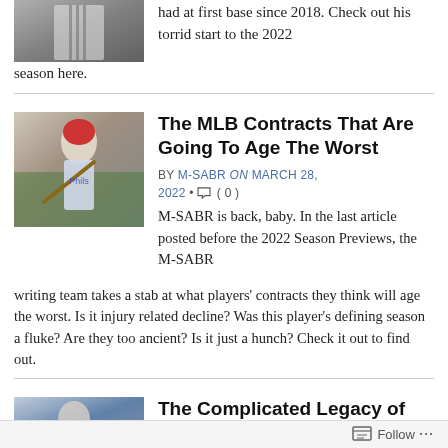[Figure (photo): Cropped baseball player image at top]
had at first base since 2018. Check out his torrid start to the 2022 season here.
The MLB Contracts That Are Going To Age The Worst
[Figure (photo): Baseball player in Phillies uniform batting]
BY M-SABR on MARCH 28, 2022 • (0)
M-SABR is back, baby. In the last article posted before the 2022 Season Previews, the M-SABR writing team takes a stab at what players' contracts they think will age the worst. Is it injury related decline? Was this player's defining season a fluke? Are they too ancient? Is it just a hunch? Check it out to find out.
The Complicated Legacy of Carlos Beltran
[Figure (photo): Partial baseball photo at bottom]
Follow